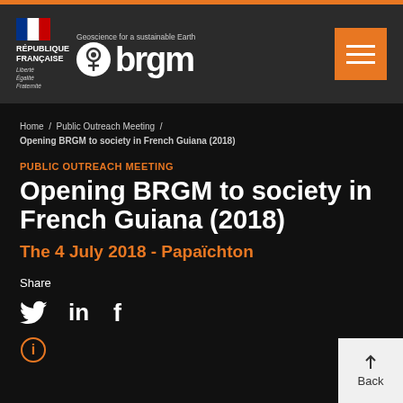[Figure (logo): BRGM header with République Française flag logo and BRGM geoscience logo with tagline 'Geoscience for a sustainable Earth', plus orange hamburger menu button]
Home / Public Outreach Meeting / Opening BRGM to society in French Guiana (2018)
PUBLIC OUTREACH MEETING
Opening BRGM to society in French Guiana (2018)
The 4 July 2018 - Papaïchton
Share
[Figure (other): Social media share icons: Twitter bird, LinkedIn 'in', Facebook 'f', and an info circle icon below]
Back